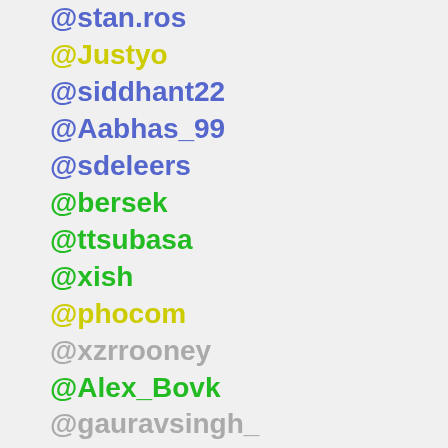@stan.ros
@Justyo
@siddhant22
@Aabhas_99
@sdeleers
@bersek
@ttsubasa
@xish
@phocom
@xzrrooney
@Alex_Bovk
@gauravsingh_
@ravi_villuri
@rdx_
@csegura
@nshal
@akoprowski
@impetus
@sdssudhu317